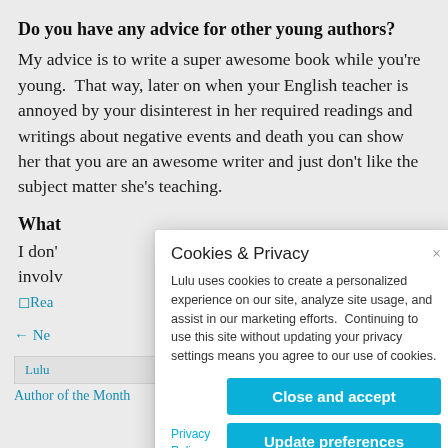Do you have any advice for other young authors?
My advice is to write a super awesome book while you’re young.  That way, later on when your English teacher is annoyed by your disinterest in her required readings and writings about negative events and death you can show her that you are an awesome writer and just don’t like the subject matter she’s teaching.
What [partially obscured by modal]
I don’t [partially obscured] uld involv [partially obscured]
[Figure (other): Read more image link (partially visible)]
← Ne [partially obscured]    ost →
Lulu [partially obscured]
Author of the Month
[Figure (screenshot): Cookies & Privacy modal dialog with title 'Cookies & Privacy', close button (x), text about Lulu cookies policy, 'Close and accept' button, 'Update preferences' button, and 'Privacy Policy' link]